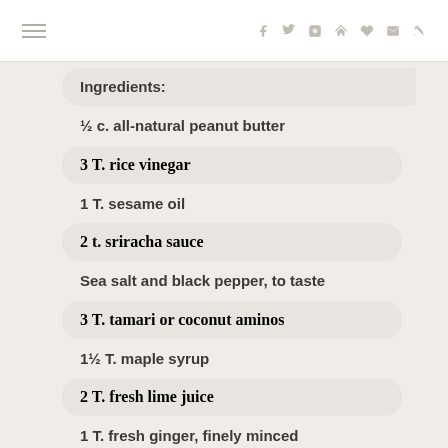navigation header with hamburger menu and social icons
Ingredients:
½ c. all-natural peanut butter
3 T. rice vinegar
1 T. sesame oil
2 t. sriracha sauce
Sea salt and black pepper, to taste
3 T. tamari or coconut aminos
1½ T. maple syrup
2 T. fresh lime juice
1 T. fresh ginger, finely minced